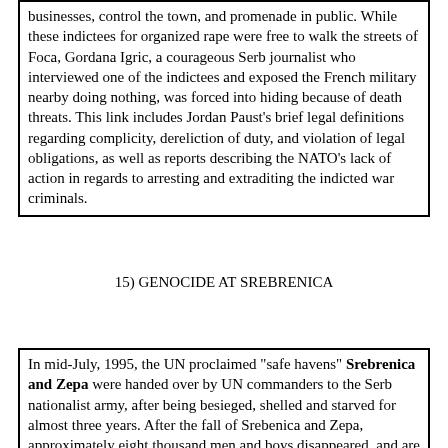businesses, control the town, and promenade in public. While these indictees for organized rape were free to walk the streets of Foca, Gordana Igric, a courageous Serb journalist who interviewed one of the indictees and exposed the French military nearby doing nothing, was forced into hiding because of death threats. This link includes Jordan Paust's brief legal definitions regarding complicity, dereliction of duty, and violation of legal obligations, as well as reports describing the NATO's lack of action in regards to arresting and extraditing the indicted war criminals.
15) GENOCIDE AT SREBRENICA
In mid-July, 1995, the UN proclaimed "safe havens" Srebrenica and Zepa were handed over by UN commanders to the Serb nationalist army, after being besieged, shelled and starved for almost three years. After the fall of Srebenica and Zepa, approximately eight thousand men and boys disappeared, and are feared dead.